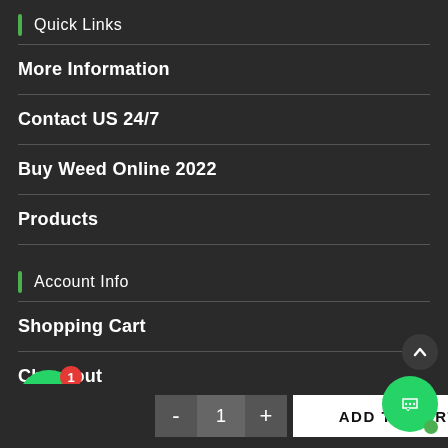Quick Links
More Information
Contact US 24/7
Buy Weed Online 2022
Products
Account Info
Shopping Cart
Checkout
My Account
ist